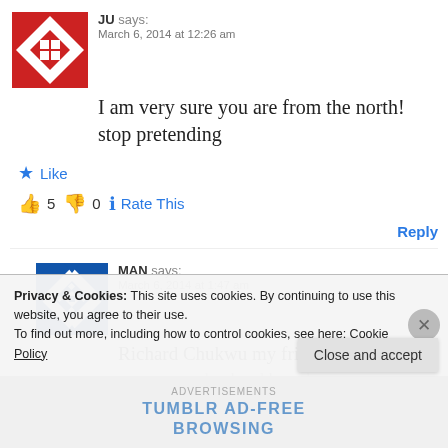[Figure (illustration): Red geometric quilt-pattern avatar for user JU]
JU says:
March 6, 2014 at 12:26 am
I am very sure you are from the north! stop pretending
★ Like
👍 5 👎 0 ℹ Rate This
Reply
[Figure (illustration): Blue geometric quilt-pattern avatar for user MAN]
MAN says:
March 6, 2014 at 1:47 am
Richard Chukwu my friend go back to nursery school and learn how to … © Ayo thank you Sir.
Privacy & Cookies: This site uses cookies. By continuing to use this website, you agree to their use.
To find out more, including how to control cookies, see here: Cookie Policy
Close and accept
Advertisements
TUMBLR AD-FREE BROWSING